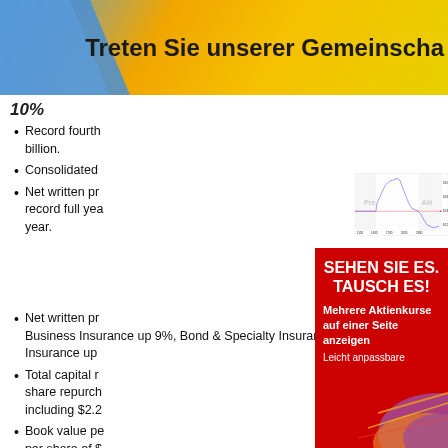Treten Sie unserer Gemeinschа
10%
Record fourth ... billion.
Consolidated ...
Net written pr... record full yea... year.
[Figure (continuous-plot): Stock price intraday chart showing price range ~162-165, with Pre and AH zones marked. Blue line chart with red horizontal reference line. X-axis: 1100, 1400, 1700, 2000, 2300. Source: (c) www.advfn.com]
Net written pr... Business Insurance up 9%, Bond & Specialty Insurance... Insurance up
Total capital r... share repurch... including $2.2...
Book value pe... per share of $...
Board of Dire...
The Travelers C...
[Figure (infographic): Red advertisement banner with white bold text: SEHEN SIE ES. TAUSCH ES! Mehrere Aktienkurse auf einer Seite anzeigen. Leicht anpassbare. Decorative colorful graphic in bottom right corner.]